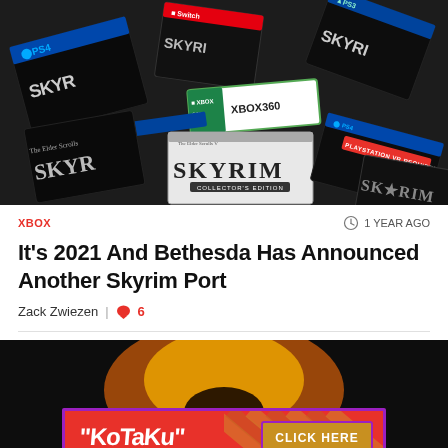[Figure (photo): Multiple copies of The Elder Scrolls V: Skyrim game cases for various platforms including PS4, PS3, Xbox 360, Nintendo Switch, and PlayStation VR edition, scattered on a dark surface.]
XBOX
1 YEAR AGO
It's 2021 And Bethesda Has Announced Another Skyrim Port
Zack Zwiezen  |  6
[Figure (photo): Dark background image with orange glow and monster silhouette, with a Kotaku advertisement banner showing 'Kotaku' logo on the left and 'CLICK HERE' button on the right with striped pattern.]